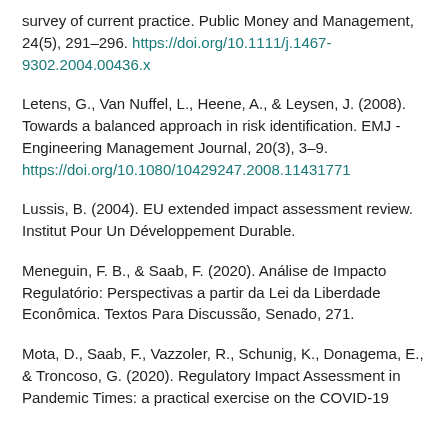survey of current practice. Public Money and Management, 24(5), 291–296. https://doi.org/10.1111/j.1467-9302.2004.00436.x
Letens, G., Van Nuffel, L., Heene, A., & Leysen, J. (2008). Towards a balanced approach in risk identification. EMJ - Engineering Management Journal, 20(3), 3–9. https://doi.org/10.1080/10429247.2008.11431771
Lussis, B. (2004). EU extended impact assessment review. Institut Pour Un Développement Durable.
Meneguin, F. B., & Saab, F. (2020). Análise de Impacto Regulatório: Perspectivas a partir da Lei da Liberdade Econômica. Textos Para Discussão, Senado, 271.
Mota, D., Saab, F., Vazzoler, R., Schunig, K., Donagema, E., & Troncoso, G. (2020). Regulatory Impact Assessment in Pandemic Times: a practical exercise on the COVID-19